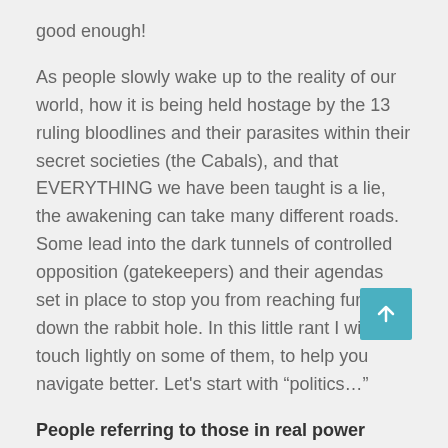good enough!
As people slowly wake up to the reality of our world, how it is being held hostage by the 13 ruling bloodlines and their parasites within their secret societies (the Cabals), and that EVERYTHING we have been taught is a lie, the awakening can take many different roads. Some lead into the dark tunnels of controlled opposition (gatekeepers) and their agendas set in place to stop you from reaching further down the rabbit hole. In this little rant I will touch lightly on some of them, to help you navigate better. Let's start with “politics…”
People referring to those in real power pulling the strings as “The Deep State”